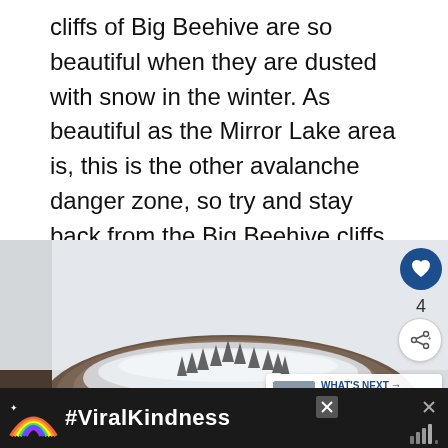cliffs of Big Beehive are so beautiful when they are dusted with snow in the winter. As beautiful as the Mirror Lake area is, this is the other avalanche danger zone, so try and stay back from the Big Beehive cliffs and don't linger too long.
[Figure (photo): A snow-dusted rocky mountain peak (Big Beehive) with grey sky background, trees visible along the ridgeline. UI overlays include a heart button (liked 4 times), a share button, and a 'What's Next' card showing Lake Louise Highline.]
[Figure (infographic): Advertisement banner: dark background with a rainbow illustration and #ViralKindness text in white. Close buttons visible.]